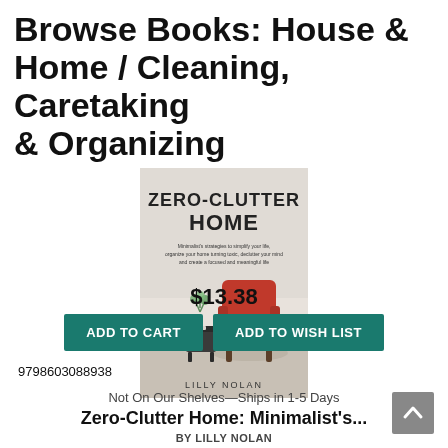Browse Books: House & Home / Cleaning, Caretaking & Organizing
[Figure (illustration): Book cover of 'Zero-Clutter Home' by Lilly Nolan featuring a red armchair on a light background with minimalist decor]
Zero-Clutter Home: Minimalist's...
BY LILLY NOLAN
$13.38
ADD TO CART
ADD TO WISH LIST
9798603088938
Not On Our Shelves—Ships in 1-5 Days